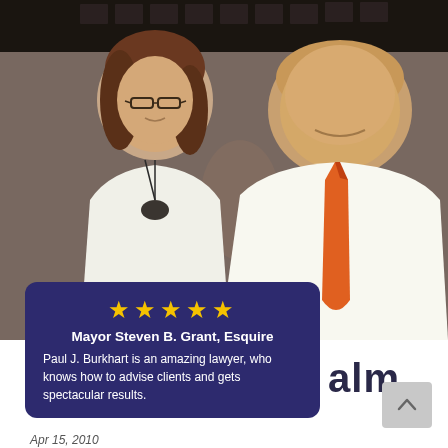[Figure (photo): Photograph of a woman with glasses and brown hair wearing a white top with a black necklace, standing next to a man in a white shirt and orange tie, in what appears to be a restaurant or bar setting.]
★★★★★
Mayor Steven B. Grant, Esquire
Paul J. Burkhart is an amazing lawyer, who knows how to advise clients and gets spectacular results.
alm
Apr 15, 2010